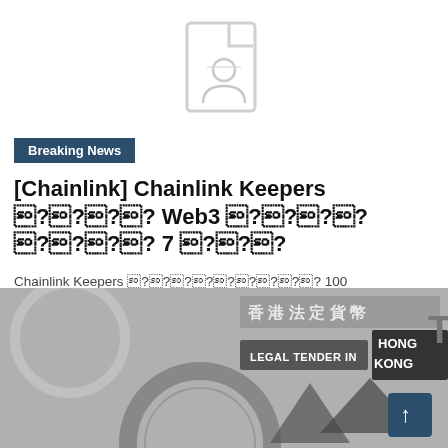[Figure (illustration): Placeholder document/image icon in light gray outline style, centered at top of page]
Breaking News
[Chainlink] Chainlink Keepers 기반의 Web3 자동화 서비스 7 출시
Chainlink Keepers 블록체인에서 100 이더리움스마트계약을분산형방식으로자동화하는데도움이됩니다 Chainlink Keepers 가출시되었습니다...
[Figure (photo): Photo of Hong Kong currency/banknotes showing text 'LEGAL TENDER IN HONG KONG' in grayscale with triangular graphic elements]